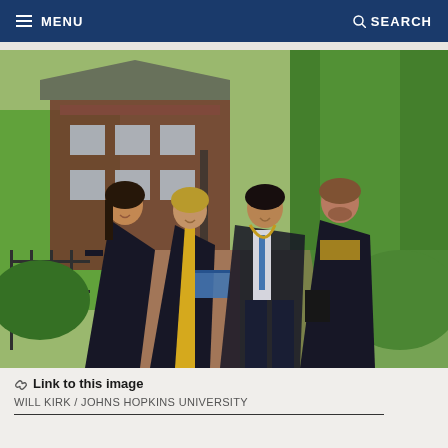MENU  SEARCH
[Figure (photo): Four university graduates in black academic robes and regalia walking together on a brick path on a sunny day, with lush green trees and a red brick building in the background. Two women on the left, two men on the right. One woman wears a gold graduation stole. One man carries a blue diploma holder.]
Link to this image
WILL KIRK / JOHNS HOPKINS UNIVERSITY